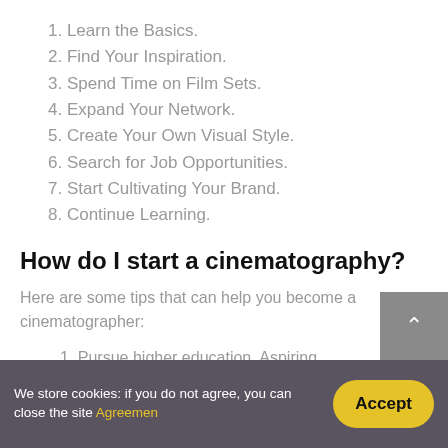1. Learn the Basics.
2. Find Your Inspiration.
3. Spend Time on Film Sets.
4. Expand Your Network.
5. Create Your Own Visual Style.
6. Search for Job Opportunities.
7. Start Cultivating Your Brand.
8. Continue Learning.
How do I start a cinematography?
Here are some tips that can help you become a cinematographer:
1. Pursue higher education. Aspiring cinematographers can benefit greatly from enrolling in film school.
We store cookies: if you do not agree, you can close the site Agreement